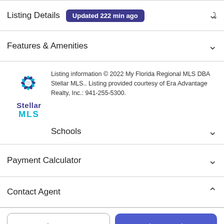Listing Details  Updated 222 min ago
Features & Amenities
Listing information © 2022 My Florida Regional MLS DBA Stellar MLS.. Listing provided courtesy of Era Advantage Realty, Inc.: 941-255-5300.
Schools
Payment Calculator
Contact Agent
Take a Tour
Ask A Question